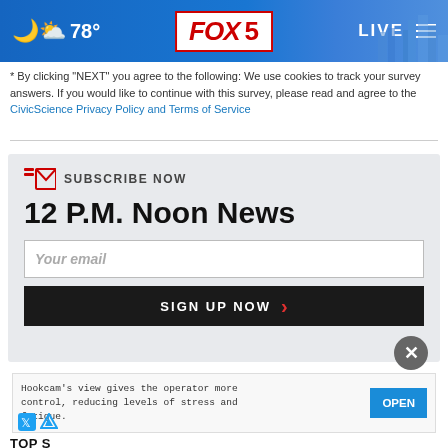FOX 5 | 78° | LIVE
* By clicking "NEXT" you agree to the following: We use cookies to track your survey answers. If you would like to continue with this survey, please read and agree to the CivicScience Privacy Policy and Terms of Service
[Figure (screenshot): Subscribe Now box for 12 P.M. Noon News email newsletter with email input field and Sign Up Now button]
Hookcam's view gives the operator more control, reducing levels of stress and fatigue.
TOP S...